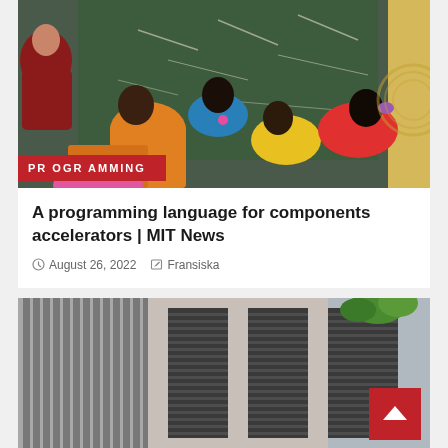[Figure (photo): Children in a classroom viewed from behind, writing on a chalkboard. A monk in red robes is visible on the left. A red label overlay reads PROGRAMMING.]
A programming language for components accelerators | MIT News
August 26, 2022   Fransiska
[Figure (photo): Exterior of a building with vertical striped shutters/louvers, green plant visible at top right, red back-to-top button overlay at bottom right.]